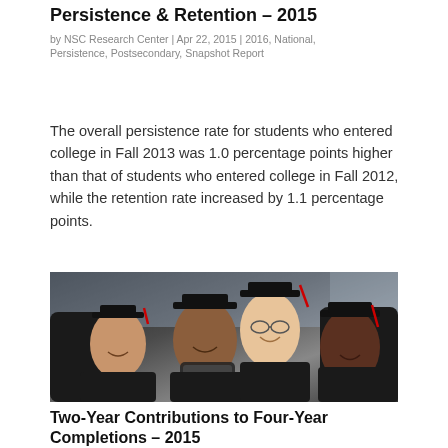Persistence & Retention – 2015
by NSC Research Center | Apr 22, 2015 | 2016, National, Persistence, Postsecondary, Snapshot Report
The overall persistence rate for students who entered college in Fall 2013 was 1.0 percentage points higher than that of students who entered college in Fall 2012, while the retention rate increased by 1.1 percentage points.
[Figure (photo): Group of smiling college graduates in black caps and gowns with red tassels, taking a selfie together]
Two-Year Contributions to Four-Year Completions – 2015
by NSC Research Center | Mar 24, 2015 | 2015, Completions